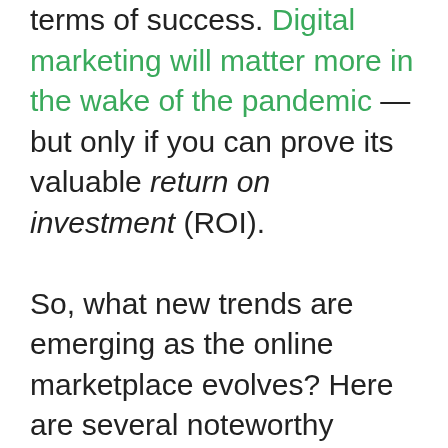terms of success. Digital marketing will matter more in the wake of the pandemic — but only if you can prove its valuable return on investment (ROI).

So, what new trends are emerging as the online marketplace evolves? Here are several noteworthy movements to be mindful of; leverage these tips to effectively capture your audience's attention,